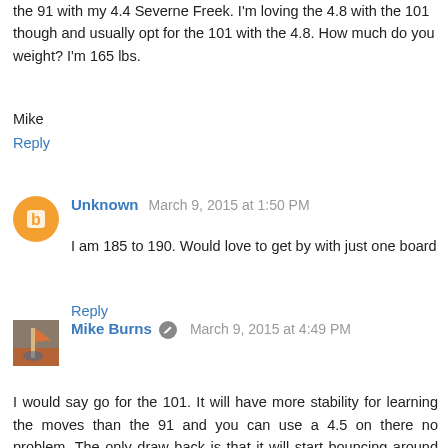the 91 with my 4.4 Severne Freek. I'm loving the 4.8 with the 101 though and usually opt for the 101 with the 4.8. How much do you weight? I'm 165 lbs.
Mike
Reply
Unknown  March 9, 2015 at 1:50 PM
I am 185 to 190. Would love to get by with just one board
Reply
Mike Burns  March 9, 2015 at 4:49 PM
I would say go for the 101. It will have more stability for learning the moves than the 91 and you can use a 4.5 on there no problem. The only draw back is that it will start bouncing around more in 4.5 conditions compared to the 91. My buddy that is about 190 lbs uses the 101 for 4.0 too and he says he likes it, but I think that's just because he's